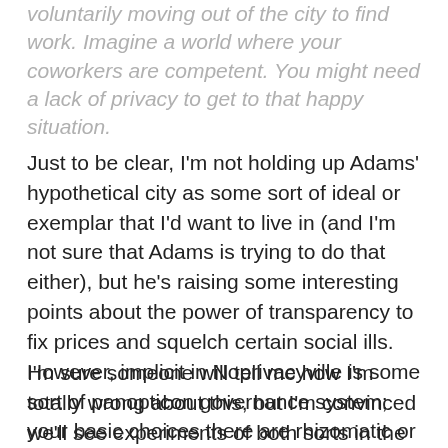voluntarily moving out of the city to find work. Imagine a world where your coworkers are competent. You might need a lack of privacy to get to that happy situation.
Just to be clear, I'm not holding up Adams' hypothetical city as some sort of ideal or exemplar that I'd want to live in (and I'm not sure that Adams is trying to do that either), but he's raising some interesting points about the power of transparency to fix prices and squelch certain social ills. However, implicit in Noprivacyville is some sort of panopticon governance system; your basic choices there are rhizomatic or hierarchical, which would make for very different living experiences and degrees of personal involvement with the politics of your new city-state.
I'm sure someone will tell me how I'm totally wrong about this, but I'm convinced we'll see experiments of both sorts in the relatively near future as the nation-state model continues to collapse under its own structural weight. As Adams says,